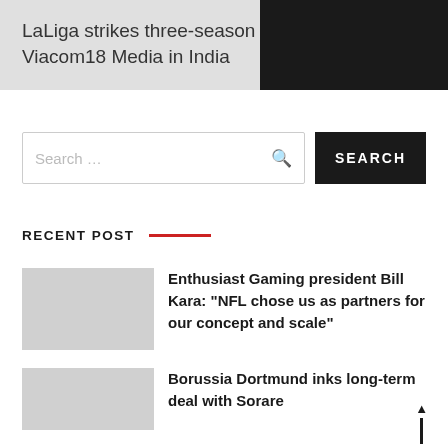LaLiga strikes three-season partnership with Viacom18 Media in India
Search …
RECENT POST
Enthusiast Gaming president Bill Kara: “NFL chose us as partners for our concept and scale”
Borussia Dortmund inks long-term deal with Sorare